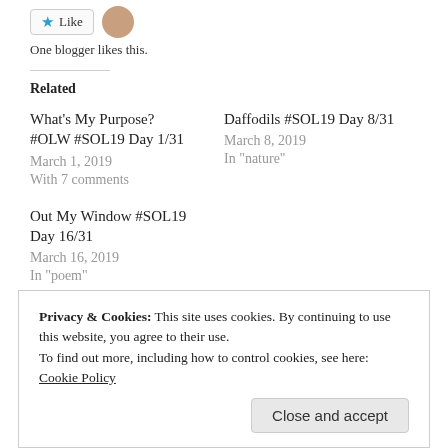One blogger likes this.
Related
What's My Purpose? #OLW #SOL19 Day 1/31
March 1, 2019
With 7 comments
Daffodils #SOL19 Day 8/31
March 8, 2019
In "nature"
Out My Window #SOL19 Day 16/31
March 16, 2019
In "poem"
Privacy & Cookies: This site uses cookies. By continuing to use this website, you agree to their use.
To find out more, including how to control cookies, see here: Cookie Policy
Close and accept